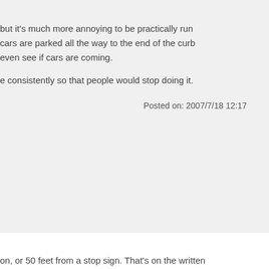#13
but it's much more annoying to be practically run cars are parked all the way to the end of the curb even see if cars are coming.
e consistently so that people would stop doing it.
Posted on: 2007/7/18 12:17
#12
on, or 50 feet from a stop sign. That's on the written ly marked as prohibited.